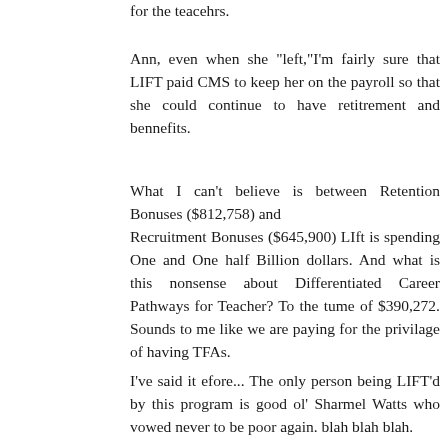for the teacehrs.
Ann, even when she "left,"I'm fairly sure that LIFT paid CMS to keep her on the payroll so that she could continue to have retitrement and bennefits.
What I can't believe is between Retention Bonuses ($812,758) and Recruitment Bonuses ($645,900) LIft is spending One and One half Billion dollars. And what is this nonsense about Differentiated Career Pathways for Teacher? To the tume of $390,272. Sounds to me like we are paying for the privilage of having TFAs.
I've said it efore... The only person being LIFT'd by this program is good ol' Sharmel Watts who vowed never to be poor again. blah blah blah.
Reply
Christine Mast  May 4, 2012 at 9:08 PM
CMS reported that the file they'd given me omitted Race to